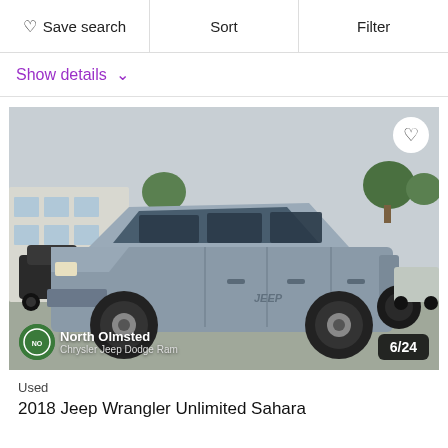Save search | Sort | Filter
Show details ∨
[Figure (photo): Silver 2018 Jeep Wrangler Unlimited Sahara photographed at a dealership lot with other vehicles in the background. A North Olmsted Chrysler Jeep Dodge Ram dealer badge is visible in the lower left corner. A heart/favorite button appears in the top right. Photo counter shows 6/24.]
Used
2018 Jeep Wrangler Unlimited Sahara